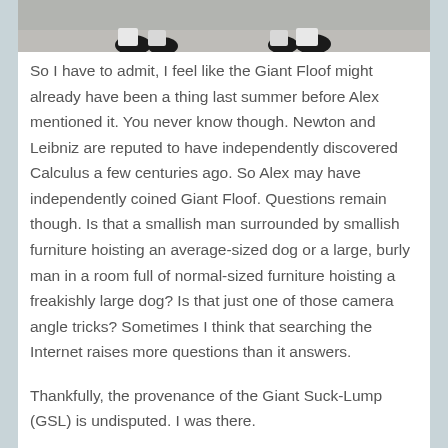[Figure (photo): Top portion of a photo showing what appears to be a person holding a large dog, only the feet/paws visible at the bottom of the cropped image. Gray/beige carpet background.]
So I have to admit, I feel like the Giant Floof might already have been a thing last summer before Alex mentioned it. You never know though. Newton and Leibniz are reputed to have independently discovered Calculus a few centuries ago. So Alex may have independently coined Giant Floof. Questions remain though. Is that a smallish man surrounded by smallish furniture hoisting an average-sized dog or a large, burly man in a room full of normal-sized furniture hoisting a freakishly large dog? Is that just one of those camera angle tricks? Sometimes I think that searching the Internet raises more questions than it answers.
Thankfully, the provenance of the Giant Suck-Lump (GSL) is undisputed. I was there.